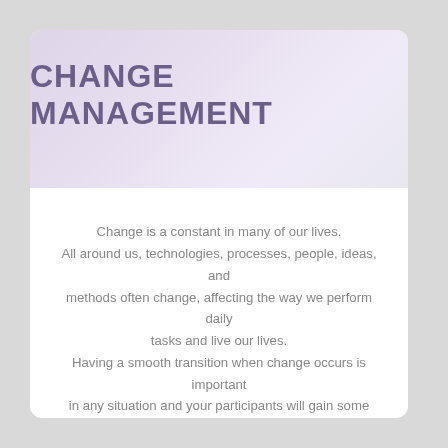CHANGE MANAGEMENT
Change is a constant in many of our lives. All around us, technologies, processes, people, ideas, and methods often change, affecting the way we perform daily tasks and live our lives. Having a smooth transition when change occurs is important in any situation and your participants will gain some valuable skills through this workshop. The Change Management workshop will give any leader tools to implement changes more smoothly and to have those changes better accepted.